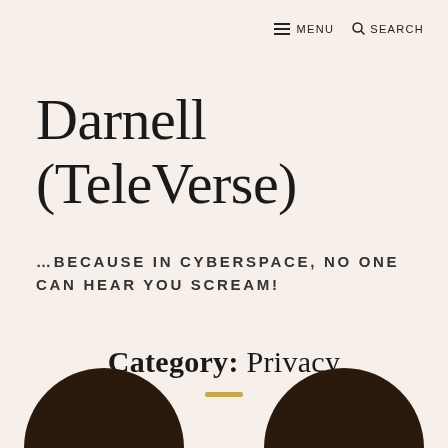≡ MENU  🔍 SEARCH
Darnell (TeleVerse)
…BECAUSE IN CYBERSPACE, NO ONE CAN HEAR YOU SCREAM!
Category: Privacy
[Figure (illustration): Two dark brown semicircles at the bottom of the page, partially visible, resembling abstract shapes or tops of circular forms.]